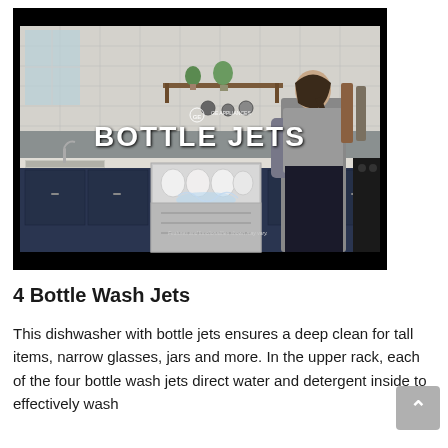[Figure (screenshot): Video thumbnail showing a kitchen scene with dark navy blue cabinets, white subway tile walls, open dishwasher with dishes, a woman standing near the dishwasher, and white text overlay reading 'BOTTLE JETS' with GE Appliances logo. Small disclaimer text at bottom reads 'Features and functionalities shown may vary.']
4 Bottle Wash Jets
This dishwasher with bottle jets ensures a deep clean for tall items, narrow glasses, jars and more. In the upper rack, each of the four bottle wash jets direct water and detergent inside to effectively wash